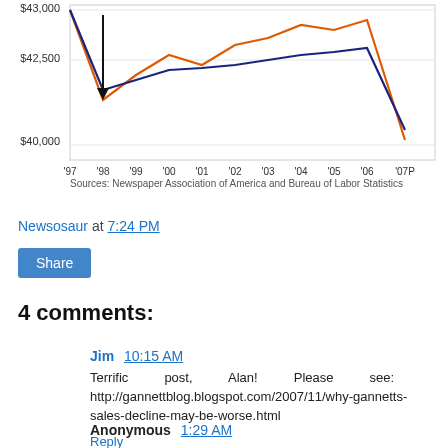[Figure (line-chart): Partial line chart showing salary trends from '97 to '07P with y-axis values around $40,000 to $43,000+. Two lines (orange and blue/dark) with a downward arrow annotation near '98.]
Sources: Newspaper Association of America and Bureau of Labor Statistics
Newsosaur at 7:24 PM
Share
4 comments:
Jim  10:15 AM
Terrific post, Alan! Please see: http://gannettblog.blogspot.com/2007/11/why-gannetts-sales-decline-may-be-worse.html
Reply
Anonymous  1:29 AM